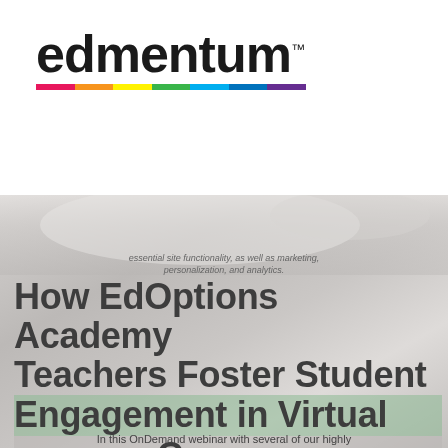[Figure (logo): Edmentum logo with rainbow colored bar and trademark symbol]
[Figure (photo): Blurred background photo showing a classroom or desk scene, overlaid with title text]
How EdOptions Academy Teachers Foster Student Engagement in Virtual Courses
In this OnDemand webinar with several of our highly